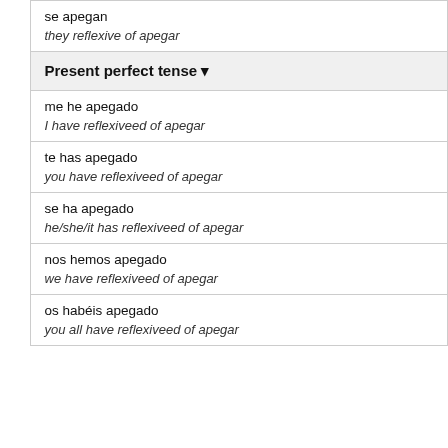se apegan / they reflexive of apegar
Present perfect tense
me he apegado / I have reflexiveed of apegar
te has apegado / you have reflexiveed of apegar
se ha apegado / he/she/it has reflexiveed of apegar
nos hemos apegado / we have reflexiveed of apegar
os habéis apegado / you all have reflexiveed of apegar